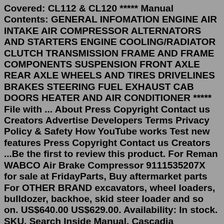Freightliner Columbia Air Compressor Models Covered: CL112 & CL120 ***** Manual Contents: GENERAL INFOMATION ENGINE AIR INTAKE AIR COMPRESSOR ALTERNATORS AND STARTERS ENGINE COOLING/RADIATOR CLUTCH TRANSMISSION FRAME AND FRAME COMPONENTS SUSPENSION FRONT AXLE REAR AXLE WHEELS AND TIRES DRIVELINES BRAKES STEERING FUEL EXHAUST CAB DOORS HEATER AND AIR CONDITIONER ***** File with ... About Press Copyright Contact us Creators Advertise Developers Terms Privacy Policy & Safety How YouTube works Test new features Press Copyright Contact us Creators ...Be the first to review this product. For Reman WABCO Air Brake Compressor 9111535207X for sale at FridayParts, Buy aftermarket parts For OTHER BRAND excavators, wheel loaders, bulldozer, backhoe, skid steer loader and so on. US$640.00 US$629.00. Availability: In stock. SKU. Search Inside Manual. Cascadia Maintenance Manual. Foreword.